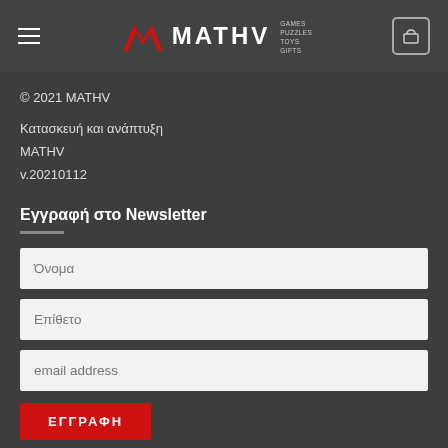MATHV — GAMES PUZZLES TOYS GIFTS
© 2021 MATHV
Κατασκευή και ανάπτυξη
MATHV
v.20210112
Εγγραφή στο Newsletter
Όνομα
Επίθετο
email address
ΕΓΓΡΑΦΗ